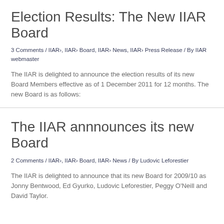Election Results: The New IIAR Board
3 Comments / IIAR›, IIAR› Board, IIAR› News, IIAR› Press Release / By IIAR webmaster
The IIAR is delighted to announce the election results of its new Board Members effective as of 1 December 2011 for 12 months. The new Board is as follows:
The IIAR annnounces its new Board
2 Comments / IIAR›, IIAR› Board, IIAR› News / By Ludovic Leforestier
The IIAR is delighted to announce that its new Board for 2009/10 as Jonny Bentwood, Ed Gyurko, Ludovic Leforestier, Peggy O'Neill and David Taylor.